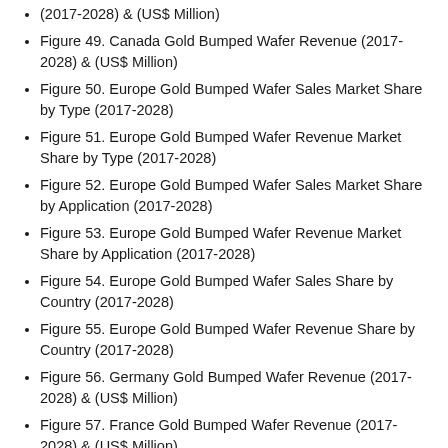(2017-2028) & (US$ Million)
Figure 49. Canada Gold Bumped Wafer Revenue (2017-2028) & (US$ Million)
Figure 50. Europe Gold Bumped Wafer Sales Market Share by Type (2017-2028)
Figure 51. Europe Gold Bumped Wafer Revenue Market Share by Type (2017-2028)
Figure 52. Europe Gold Bumped Wafer Sales Market Share by Application (2017-2028)
Figure 53. Europe Gold Bumped Wafer Revenue Market Share by Application (2017-2028)
Figure 54. Europe Gold Bumped Wafer Sales Share by Country (2017-2028)
Figure 55. Europe Gold Bumped Wafer Revenue Share by Country (2017-2028)
Figure 56. Germany Gold Bumped Wafer Revenue (2017-2028) & (US$ Million)
Figure 57. France Gold Bumped Wafer Revenue (2017-2028) & (US$ Million)
Figure 58. U.K. Gold Bumped Wafer Revenue (2017-2028) & (US$ Million)